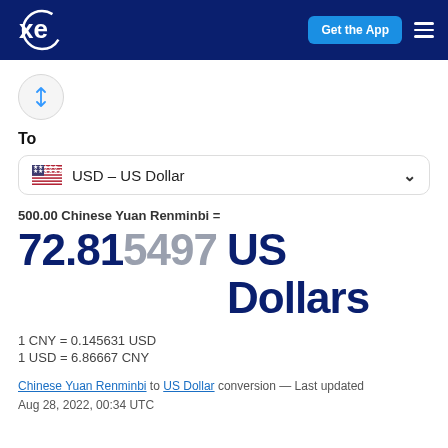xe — Get the App
[Figure (logo): XE currency converter logo — white 'xe' text with circle on dark navy background]
To
USD – US Dollar
500.00 Chinese Yuan Renminbi =
72.815497 US Dollars
1 CNY = 0.145631 USD
1 USD = 6.86667 CNY
Chinese Yuan Renminbi to US Dollar conversion — Last updated Aug 28, 2022, 00:34 UTC